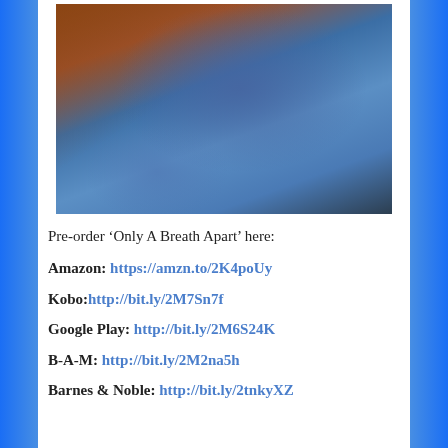[Figure (photo): Person sitting hugging their knees against a brick wall, wearing jeans and a dark top.]
Pre-order ‘Only A Breath Apart’ here:
Amazon: https://amzn.to/2K4poUy
Kobo:http://bit.ly/2M7Sn7f
Google Play: http://bit.ly/2M6S24K
B-A-M: http://bit.ly/2M2na5h
Barnes & Noble: http://bit.ly/2tnkyXZ